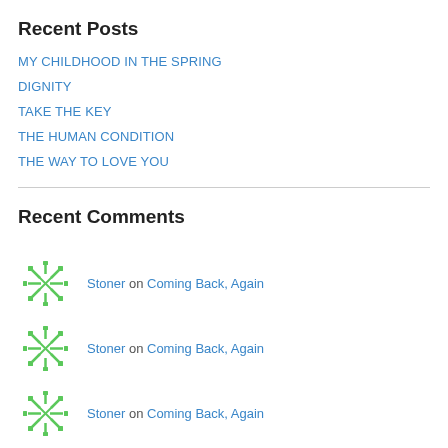Recent Posts
MY CHILDHOOD IN THE SPRING
DIGNITY
TAKE THE KEY
THE HUMAN CONDITION
THE WAY TO LOVE YOU
Recent Comments
Stoner on Coming Back, Again
Stoner on Coming Back, Again
Stoner on Coming Back, Again
Meredith Leatherwood on Coming Back, Again